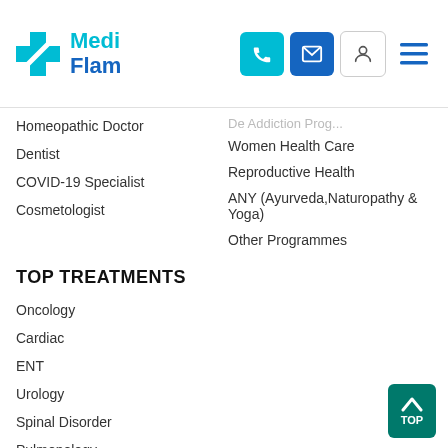[Figure (logo): MediFlam logo with teal cross icon and teal/blue text]
Homeopathic Doctor
Dentist
COVID-19 Specialist
Cosmetologist
Women Health Care
Reproductive Health
ANY (Ayurveda,Naturopathy & Yoga)
Other Programmes
TOP TREATMENTS
Oncology
Cardiac
ENT
Urology
Spinal Disorder
Pulmonology
Orthopedics
Hematology
Dental Science
Dermatology
Neurological Sciences